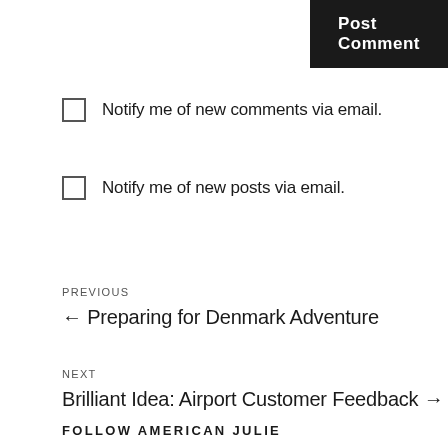Post Comment
Notify me of new comments via email.
Notify me of new posts via email.
PREVIOUS
← Preparing for Denmark Adventure
NEXT
Brilliant Idea: Airport Customer Feedback →
FOLLOW AMERICAN JULIE